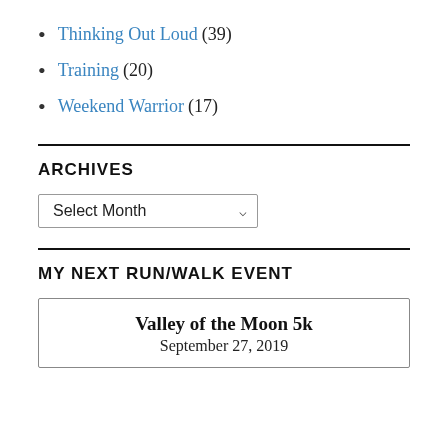Thinking Out Loud (39)
Training (20)
Weekend Warrior (17)
ARCHIVES
Select Month
MY NEXT RUN/WALK EVENT
Valley of the Moon 5k
September 27, 2019